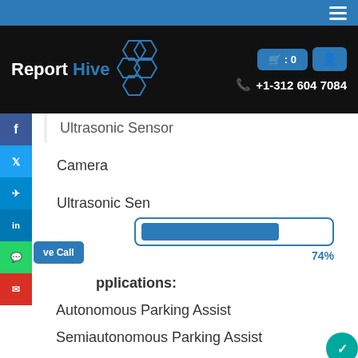Report Hive — +1-312 604 7084
Ultrasonic Sensor
Camera
Ultrasonic Sensor
[Figure (infographic): A horizontal progress bar showing 74% completion, styled with a blue border and blue fill.]
74%
Applications:
Autonomous Parking Assist
Semiautonomous Parking Assist